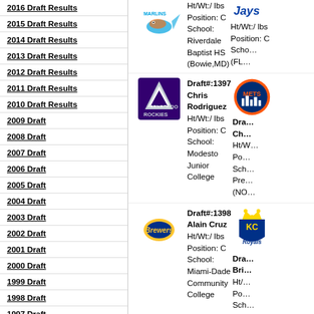2016 Draft Results
2015 Draft Results
2014 Draft Results
2013 Draft Results
2012 Draft Results
2011 Draft Results
2010 Draft Results
2009 Draft
2008 Draft
2007 Draft
2006 Draft
2005 Draft
2004 Draft
2003 Draft
2002 Draft
2001 Draft
2000 Draft
1999 Draft
1998 Draft
1997 Draft
1996 Draft
1995 Draft
1994 Draft
Draft#:1397 Chris Rodriguez Ht/Wt:/ lbs Position: C School: Modesto Junior College
Draft#:1398 Alain Cruz Ht/Wt:/ lbs Position: C School: Miami-Dade Community College